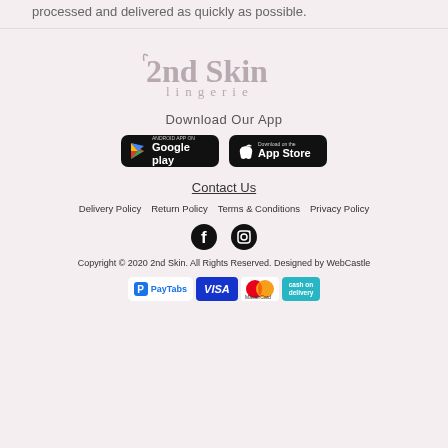processed and delivered as quickly as possible.
[Figure (logo): 2nd Skin Lingerie logo in muted rose/grey tones]
Download Our App
[Figure (screenshot): Google Play and App Store download badges]
Contact Us
Delivery Policy   Return Policy   Terms & Conditions   Privacy Policy
[Figure (illustration): Facebook and Instagram social media icons]
Copyright © 2020 2nd Skin. All Rights Reserved. Designed by WebCastle
[Figure (illustration): Payment icons: PayTabs, Visa, MasterCard, Cash on Delivery]